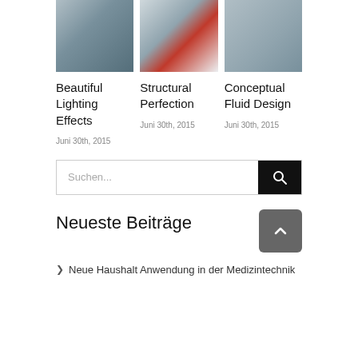[Figure (photo): Architectural photo of a modern glass building exterior]
[Figure (photo): Architectural photo of a modern building with orange/red door elements]
[Figure (photo): Close-up architectural detail with fluid/wave-like metallic design]
Beautiful Lighting Effects
Juni 30th, 2015
Structural Perfection
Juni 30th, 2015
Conceptual Fluid Design
Juni 30th, 2015
Suchen...
Neueste Beiträge
Neue Haushalt Anwendung in der Medizintechnik